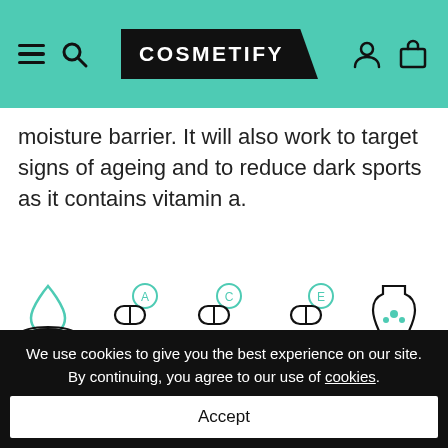COSMETIFY
moisture barrier. It will also work to target signs of ageing and to reduce dark sports as it contains vitamin a.
[Figure (infographic): Row of ingredient icons: Hyaluronic Acid (water drop), Vitamin A (capsule with A), Vitamin C (capsule with C), Vitamin E (capsule with E), Paraben (partial icon)]
Sarah Chapman Says
"My quest for a line-smoothing eye cream led to this peptide-packed formulation, blending super science with make-up technology for instant and
We use cookies to give you the best experience on our site. By continuing, you agree to our use of cookies.
Accept